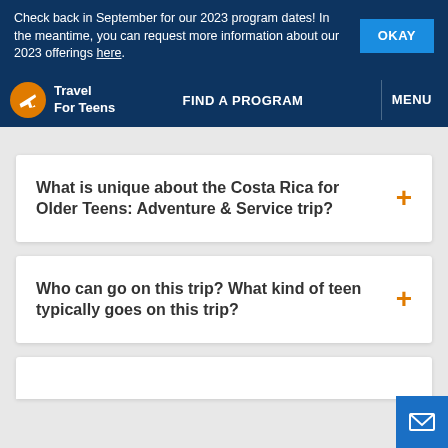Check back in September for our 2023 program dates! In the meantime, you can request more information about our 2023 offerings here.
Travel For Teens | FIND A PROGRAM | MENU
What is unique about the Costa Rica for Older Teens: Adventure & Service trip?
Who can go on this trip? What kind of teen typically goes on this trip?